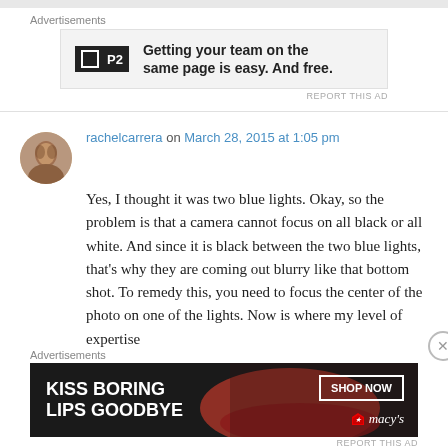[Figure (other): Top advertisement banner with P2 logo: 'Getting your team on the same page is easy. And free.']
rachelcarrera on March 28, 2015 at 1:05 pm
[Figure (photo): Avatar photo of rachelcarrera, a woman with dark hair]
Yes, I thought it was two blue lights. Okay, so the problem is that a camera cannot focus on all black or all white. And since it is black between the two blue lights, that's why they are coming out blurry like that bottom shot. To remedy this, you need to focus the center of the photo on one of the lights. Now is where my level of expertise
[Figure (other): Bottom advertisement banner: 'KISS BORING LIPS GOODBYE' with SHOP NOW button and Macy's logo]